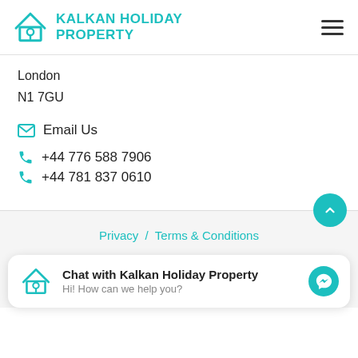[Figure (logo): Kalkan Holiday Property logo with teal house icon and teal text]
London
N1 7GU
✉ Email Us
📞 +44 776 588 7906
📞 +44 781 837 0610
Privacy / Terms & Conditions
Chat with Kalkan Holiday Property
Hi! How can we help you?